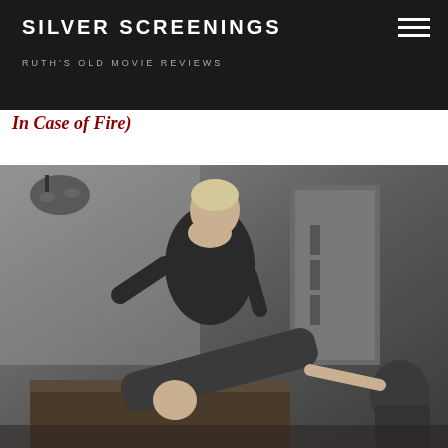SILVER SCREENINGS
RUTH'S OLD MOVIE REVIEWS
Thoughts All Sorts: Was Tom Wentt's Brent (What to do In Case of Fire)
[Figure (photo): Black and white still from an old movie showing a woman in dark dress standing over a man who is falling or lying back on a desk, in an office setting]